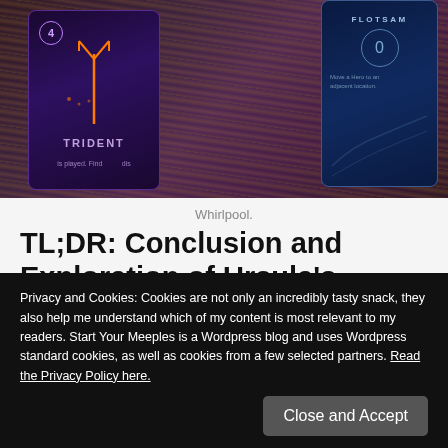[Figure (photo): Photo of Villainous board game cards (Trident and Flotsam) laid on a wooden surface with purple/blue card art]
Whirlpool.
TL;DR: Conclusion and Exploration of Ursula’s Villainous Strategy
Throughout this article we have explored a few different concepts around Ursula’s deck in the hit game Villainous.
Privacy and Cookies: Cookies are not only an incredibly tasty snack, they also help me understand which of my content is most relevant to my readers. Start Your Meeples is a Wordpress blog and uses Wordpress standard cookies, as well as cookies from a few selected partners. Read the Privacy Policy here.
churning through her deck as quickly as possible. Key